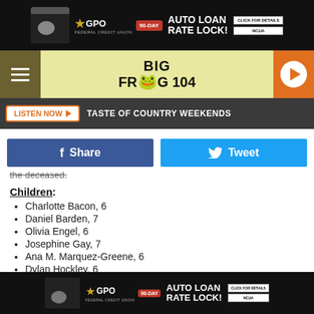[Figure (infographic): GPO Federal Credit Union 90-Day Auto Loan Rate Lock advertisement banner, dark background]
[Figure (logo): Big Frog 104 radio station header with hamburger menu, logo, and orange play button]
[Figure (infographic): Listen Now button with Taste of Country Weekends label on dark bar]
[Figure (infographic): Facebook Share button (blue) and Twitter Tweet button (cyan)]
the deceased.
Children:
Charlotte Bacon, 6
Daniel Barden, 7
Olivia Engel, 6
Josephine Gay, 7
Ana M. Marquez-Greene, 6
Dylan Hockley, 6
[Figure (infographic): GPO Federal Credit Union 90-Day Auto Loan Rate Lock advertisement banner at bottom]